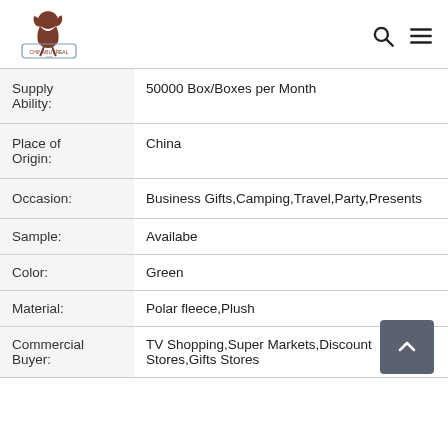[Figure (logo): ChinaBuyReal.com logo with a dog silhouette above a rectangular badge]
| Field | Value |
| --- | --- |
| Supply Ability: | 50000 Box/Boxes per Month |
| Place of Origin: | China |
| Occasion: | Business Gifts,Camping,Travel,Party,Presents |
| Sample: | Availabe |
| Color: | Green |
| Material: | Polar fleece,Plush |
| Commercial Buyer: | TV Shopping,Super Markets,Discount Stores,Gifts Stores |